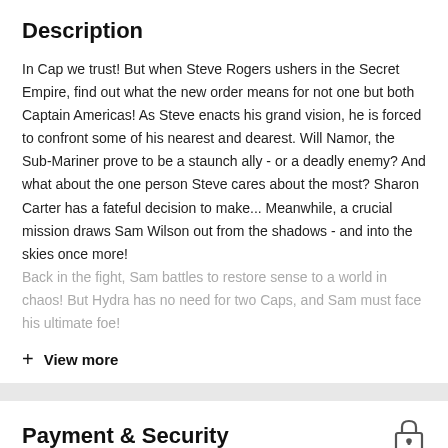Description
In Cap we trust! But when Steve Rogers ushers in the Secret Empire, find out what the new order means for not one but both Captain Americas! As Steve enacts his grand vision, he is forced to confront some of his nearest and dearest. Will Namor, the Sub-Mariner prove to be a staunch ally - or a deadly enemy? And what about the one person Steve cares about the most? Sharon Carter has a fateful decision to make... Meanwhile, a crucial mission draws Sam Wilson out from the shadows - and into the skies once more!
Back in the fight, Sam battles to restore sense to a world in chaos! But Hydra has no need for two Caps, and Sam must face his ultimate foe!
+ View more
Payment & Security